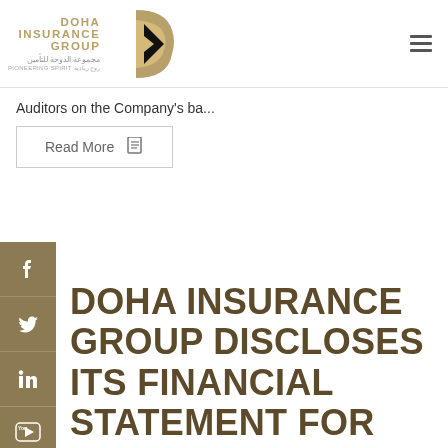[Figure (logo): Doha Insurance Group logo with golden D-arrow icon and bilingual text (English and Arabic), Pioneering Spirit tagline]
Auditors on the Company's ba...
Read More
DOHA INSURANCE GROUP DISCLOSES ITS FINANCIAL STATEMENT FOR THE YEAR ENDED AS OF DECEMBER 31,2017